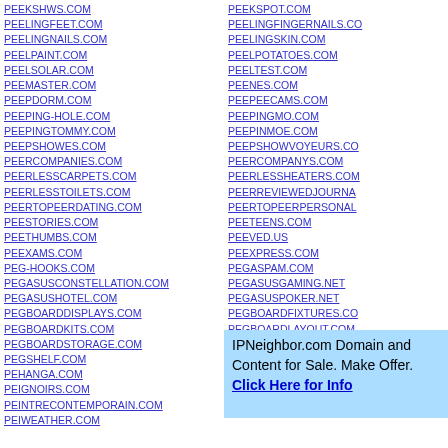PEEKSHWS.COM
PEELINGFEET.COM
PEELINGNAILS.COM
PEELPAINT.COM
PEELSOLAR.COM
PEEMASTER.COM
PEEPDORM.COM
PEEPING-HOLE.COM
PEEPINGTOMMY.COM
PEEPSHOWES.COM
PEERCOMPANIES.COM
PEERLESSCARPETS.COM
PEERLESSTOILETS.COM
PEERTOPEERDATING.COM
PEESTORIES.COM
PEETHUMBS.COM
PEEXAMS.COM
PEG-HOOKS.COM
PEGASUSCONSTELLATION.COM
PEGASUSHOTEL.COM
PEGBOARDDISPLAYS.COM
PEGBOARDKITS.COM
PEGBOARDSTORAGE.COM
PEGSHELF.COM
PEHANGA.COM
PEIGNOIRS.COM
PEINTRECONTEMPORAIN.COM
PEIWEATHER.COM
PEEKSPOT.COM
PEELINGFINGERNAILS.COM
PEELINGSKIN.COM
PEELPOTATOES.COM
PEELTEST.COM
PEENES.COM
PEEPEECAMS.COM
PEEPINGMO.COM
PEEPINMOE.COM
PEEPSHOWVOYEURS.COM
PEERCOMPANYS.COM
PEERLESSHEATERS.COM
PEERREVIEWEDJOURNALS.COM
PEERTOPEERPERSONALS.COM
PEETEENS.COM
PEEVED.US
PEEXPRESS.COM
PEGASPAM.COM
PEGASUSGAMING.NET
PEGASUSPOKER.NET
PEGBOARDFIXTURES.COM
PEGBOARDLAYOUT.COM
PEGIRLS.COM
[Figure (infographic): IPNeighbor.com Domain and Content for Sale advertisement box with light blue background. Text reads: IPNeighbor.com Domain and Content for Sale. Make Offer. Click Here for Info (bold link)]